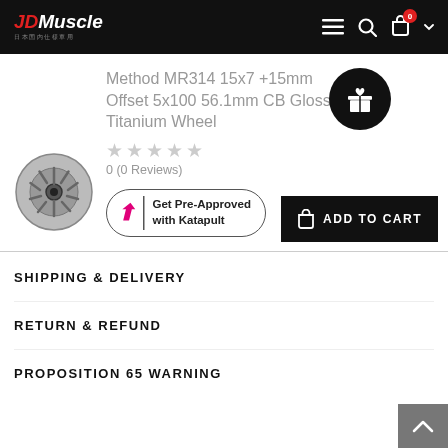JDMuscle — navigation header with logo, menu, search, and cart icons
Method MR314 15x7 +15mm Offset 5x100 56.1mm CB Gloss Titanium Wheel
0 (0 Reviews)
[Figure (photo): Silver multi-spoke wheel product thumbnail]
[Figure (other): Gift icon in black circle]
Get Pre-Approved with Katapult
ADD TO CART
SHIPPING & DELIVERY
RETURN & REFUND
PROPOSITION 65 WARNING